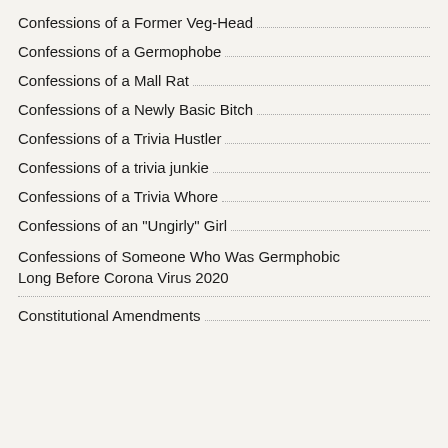Confessions of a Former Veg-Head
Confessions of a Germophobe
Confessions of a Mall Rat
Confessions of a Newly Basic Bitch
Confessions of a Trivia Hustler
Confessions of a trivia junkie
Confessions of a Trivia Whore
Confessions of an "Ungirly" Girl
Confessions of Someone Who Was Germphobic Long Before Corona Virus 2020
Constitutional Amendments